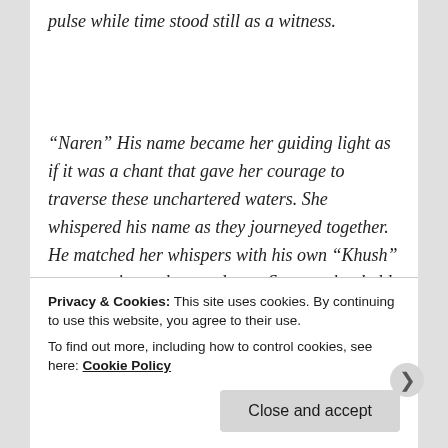pulse while time stood still as a witness.
“Naren” His name became her guiding light as if it was a chant that gave her courage to traverse these unchartered waters. She whispered his name as they journeyed together. He matched her whispers with his own “Khush” as urgencies took precedence. Screens that held them back were torn down as hands, legs, and bodies danced to their desired melodies. It was as
Privacy & Cookies: This site uses cookies. By continuing to use this website, you agree to their use.
To find out more, including how to control cookies, see here: Cookie Policy